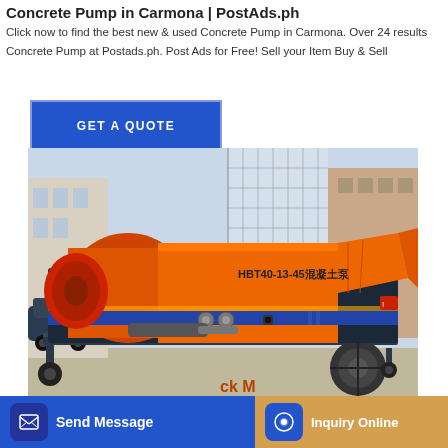Concrete Pump in Carmona | PostAds.ph
Click now to find the best new & used Concrete Pump in Carmona. Over 24 results Concrete Pump at Postads.ph. Post Ads for Free! Sell your Item Buy & Sell
GET A QUOTE
[Figure (photo): Orange and dark blue concrete pump machine (HBT40-13-45 model) on wheels, parked outdoors on a paved surface with buildings in background]
Send Message
Inquiry Online
BORCS DEVELOPMENT